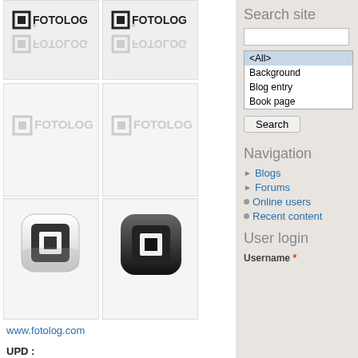[Figure (screenshot): Grid of 6 Fotolog logo images - top row shows dark logos with reflections, middle row shows faded/transparent logos, bottom row shows iPhone app style icons]
www.fotolog.com
UPD :
fotolog_Iphone01a.png
fotolog_Iphone02a.png
fotolog.com
Reflection   Glow
Transparent PNG   iPhone App Style
Image/Video Hosting   Portals
Read more   Log in or register to post
Search site
<All>
Background
Blog entry
Book page
Search
Navigation
Blogs
Forums
Online users
Recent content
User login
Username *